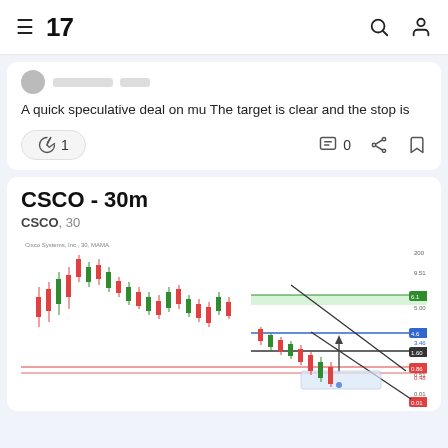TradingView navigation header with logo '17' and search and user icons
A quick speculative deal on mu The target is clear and the stop is
🚀 1  💬 0
CSCO - 30m
CSCO, 30
[Figure (screenshot): Candlestick chart of CSCO on 30-minute timeframe showing price action with red and green candles, a descending channel drawn with diagonal lines, horizontal support/resistance levels highlighted in green and red, a blue horizontal line, an upward arrow annotation, and price labels on the right axis.]